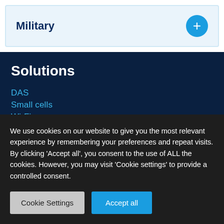Military
Solutions
DAS
Small cells
Wi-Fi
Private networks
Fiber
Communication towers
We use cookies on our website to give you the most relevant experience by remembering your preferences and repeat visits. By clicking 'Accept all', you consent to the use of ALL the cookies. However, you may visit 'Cookie settings' to provide a controlled consent.